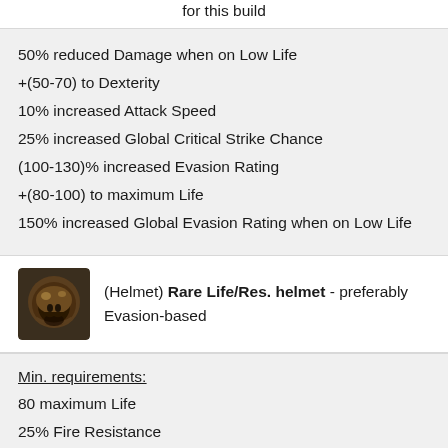for this build
50% reduced Damage when on Low Life
+(50-70) to Dexterity
10% increased Attack Speed
25% increased Global Critical Strike Chance
(100-130)% increased Evasion Rating
+(80-100) to maximum Life
150% increased Global Evasion Rating when on Low Life
(Helmet) Rare Life/Res. helmet - preferably Evasion-based
Min. requirements:
80 maximum Life
25% Fire Resistance
25% Lightning Resistance
25% Cold Resistance
Optional affixes